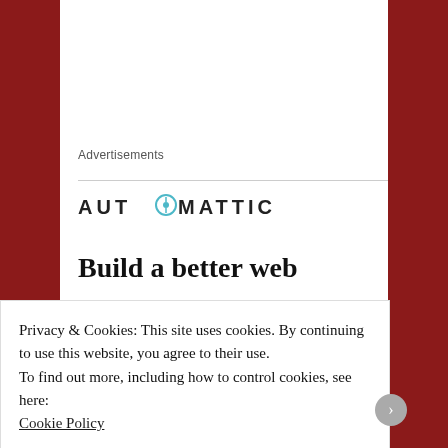Advertisements
[Figure (logo): AUTOMATTIC logo with compass/clock icon replacing the O in AUTOMATTIC]
Build a better web
[Figure (logo): Thomas blog icon — purple hourglass/figure shape with arrows]
Thomas
Privacy & Cookies: This site uses cookies. By continuing to use this website, you agree to their use.
To find out more, including how to control cookies, see here: Cookie Policy
Close and accept